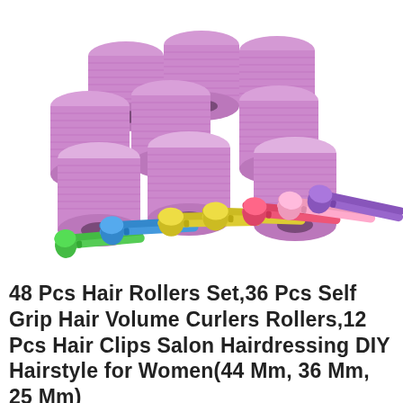[Figure (photo): Product photo showing 9 large purple self-grip hair rollers/curlers arranged in a group at the top, and 12 colorful hair clips (green, blue, yellow, pink/red, purple) arranged in a fan/spread pattern at the bottom. White background.]
48 Pcs Hair Rollers Set,36 Pcs Self Grip Hair Volume Curlers Rollers,12 Pcs Hair Clips Salon Hairdressing DIY Hairstyle for Women(44 Mm, 36 Mm, 25 Mm)